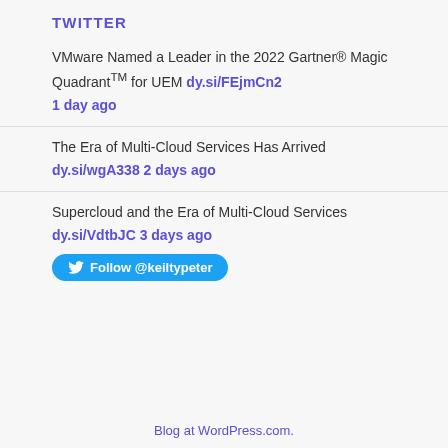TWITTER
VMware Named a Leader in the 2022 Gartner® Magic Quadrant™ for UEM dy.si/FEjmCn2 1 day ago
The Era of Multi-Cloud Services Has Arrived dy.si/wgA338 2 days ago
Supercloud and the Era of Multi-Cloud Services dy.si/VdtbJC 3 days ago
Follow @keiltypeter
Blog at WordPress.com.